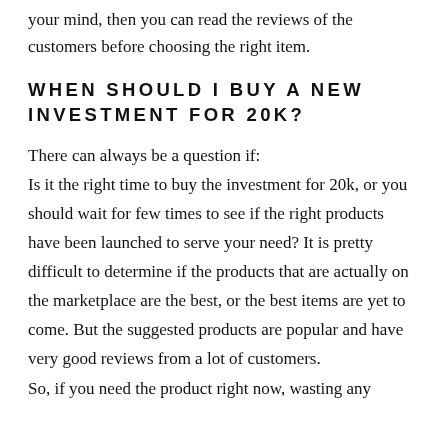your mind, then you can read the reviews of the customers before choosing the right item.
WHEN SHOULD I BUY A NEW INVESTMENT FOR 20K?
There can always be a question if: Is it the right time to buy the investment for 20k, or you should wait for few times to see if the right products have been launched to serve your need? It is pretty difficult to determine if the products that are actually on the marketplace are the best, or the best items are yet to come. But the suggested products are popular and have very good reviews from a lot of customers.
So, if you need the product right now, wasting any